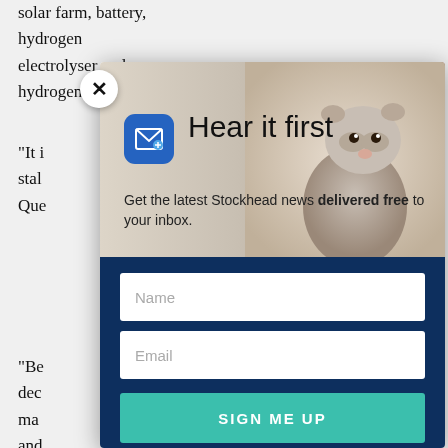solar farm, battery, hydrogen electrolyser and hydrogen fuel cell.
“It i... stal... Quе... ts.
“Be... dec... ma... and... pot...
“Tra... ele... ava... tor inn...
[Figure (screenshot): Email newsletter signup modal overlay with 'Hear it first' headline, groundhog photo background, mail icon, subtitle 'Get the latest Stockhead news delivered free to your inbox.', Name and Email input fields, and SIGN ME UP button. A close X button appears in the top-left corner of the modal.]